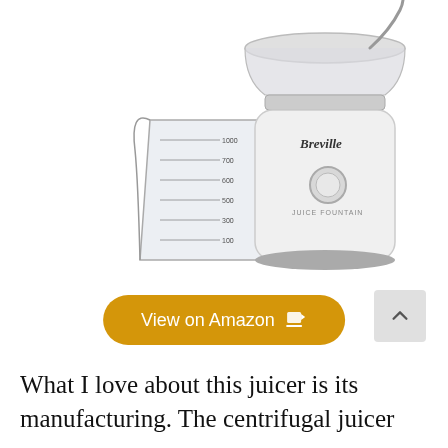[Figure (photo): Breville Juice Fountain centrifugal juicer with a glass measuring jug beside it. The juicer is white and silver with a 'Breville' logo and 'JUICE FOUNTAIN' text on the body, and has a dial control. The measuring jug has measurement markings on it.]
View on Amazon 🛒
What I love about this juicer is its manufacturing. The centrifugal juicer uses